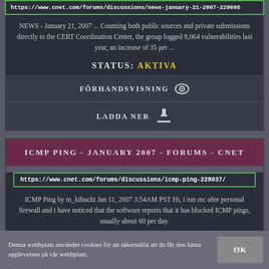https://www.cnet.com/forums/discussions/news-january-21-2007-229608
NEWS - January 21, 2007 ... Counting both public sources and private submissions directly to the CERT Coordination Center, the group logged 8,064 vulnerabilities last year, an increase of 35 per ...
STATUS: AKTIVA
FÖRHANDSVISNING
LADDA NER
ICMP PING - JANUARY 2007 - FORUMS - CNET
https://www.cnet.com/forums/discussions/icmp-ping-228037/
ICMP Ping by m_kibuchi Jan 11, 2007 3:54AM PST Hi, i run mc afee personal firewall and i have noticed that the software reports that it has blocked ICMP pings, usually about 60 per day.
Denna webbplats använder cookies för att säkerställa att du får den bästa upplevelsen på vår webbplats.